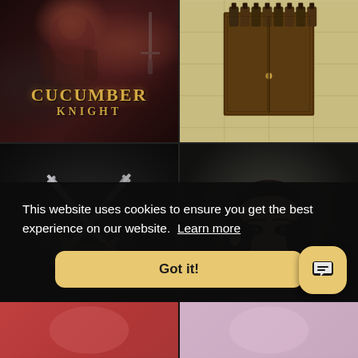[Figure (screenshot): Grid of game/3D art thumbnails: top-left shows 'Cucumber Knight' game art with armored figure; top-right shows wooden cabinet with bottles from top-down view; middle-left shows crossed swords/weapons on dark background; middle-right shows realistic 3D female portrait; bottom-left shows orange cartoon creature; bottom-right shows dark mechanical/steampunk scene.]
This website uses cookies to ensure you get the best experience on our website.  Learn more
Got it!